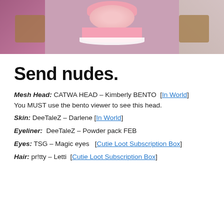[Figure (photo): Photo of a person wearing a pink crop top and ruffled skirt with white trim, posed in a pink-themed room with wooden chairs on either side.]
Send nudes.
Mesh Head: CATWA HEAD – Kimberly BENTO  [In World] You MUST use the bento viewer to see this head.
Skin: DeeTaleZ – Darlene [In World]
Eyeliner:  DeeTaleZ – Powder pack FEB
Eyes: TSG – Magic eyes   [Cutie Loot Subscription Box]
Hair: pr!tty – Letti  [Cutie Loot Subscription Box]